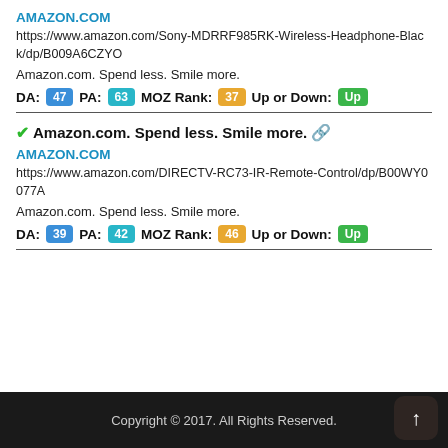AMAZON.COM
https://www.amazon.com/Sony-MDRRF985RK-Wireless-Headphone-Black/dp/B009A6CZYO
Amazon.com. Spend less. Smile more.
DA: 47  PA: 63  MOZ Rank: 37  Up or Down: Up
✔Amazon.com. Spend less. Smile more.
AMAZON.COM
https://www.amazon.com/DIRECTV-RC73-IR-Remote-Control/dp/B00WY0077A
Amazon.com. Spend less. Smile more.
DA: 39  PA: 42  MOZ Rank: 46  Up or Down: Up
Copyright © 2017. All Rights Reserved.